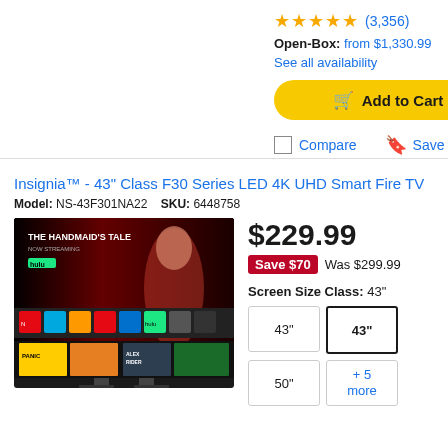★★★★★ (3,356)
Open-Box: from $1,330.99
See all availability
🛒 Add to Cart
☐ Compare  🔖 Save
Insignia™ - 43" Class F30 Series LED 4K UHD Smart Fire TV
Model: NS-43F301NA22   SKU: 6448758
[Figure (screenshot): Smart TV screen showing The Handmaid's Tale on Hulu and Fire TV home screen with various apps and content thumbnails]
$229.99
Save $70  Was $299.99
Screen Size Class: 43"
43" (selected), 43", 50", +5 more